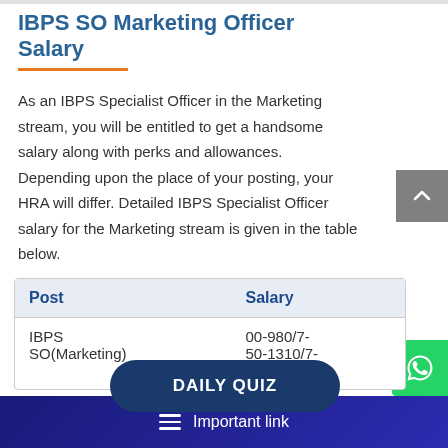IBPS SO Marketing Officer Salary
As an IBPS Specialist Officer in the Marketing stream, you will be entitled to get a handsome salary along with perks and allowances. Depending upon the place of your posting, your HRA will differ. Detailed IBPS Specialist Officer salary for the Marketing stream is given in the table below.
| Post | Salary |
| --- | --- |
| IBPS SO(Marketing) | 00-980/7-50-1310/7-42020 |
Important link